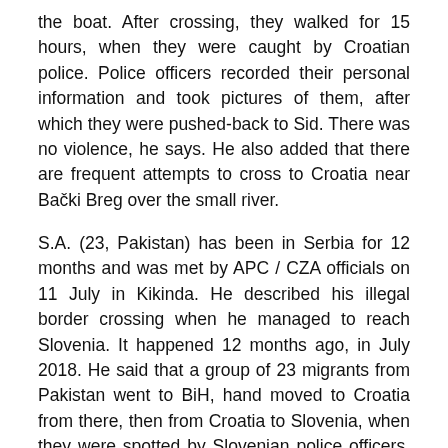the boat. After crossing, they walked for 15 hours, when they were caught by Croatian police. Police officers recorded their personal information and took pictures of them, after which they were pushed-back to Sid. There was no violence, he says. He also added that there are frequent attempts to cross to Croatia near Bački Breg over the small river.
S.A. (23, Pakistan) has been in Serbia for 12 months and was met by APC / CZA officials on 11 July in Kikinda. He described his illegal border crossing when he managed to reach Slovenia. It happened 12 months ago, in July 2018. He said that a group of 23 migrants from Pakistan went to BiH, hand moved to Croatia from there, then from Croatia to Slovenia, when they were spotted by Slovenian police officers. He said that during the arrest by the Slovenian police, they spent 5 days in jail. After stating that they wanted asylum, they were not allowed to contact an asylum procedure because, to after 5 days, they were met by a force, let